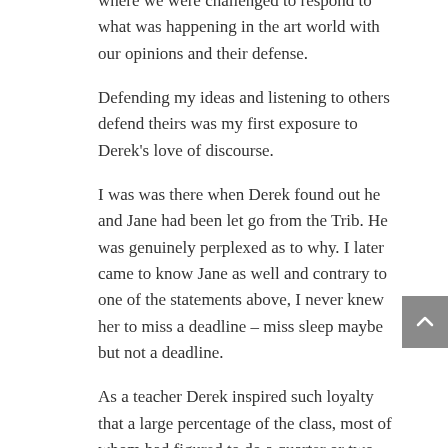where we were challenged to respond to what was happening in the art world with our opinions and their defense.
Defending my ideas and listening to others defend theirs was my first exposure to Derek's love of discourse.
I was was there when Derek found out he and Jane had been let go from the Trib. He was genuinely perplexed as to why. I later came to know Jane as well and contrary to one of the statements above, I never knew her to miss a deadline – miss sleep maybe but not a deadline.
As a teacher Derek inspired such loyalty that a large percentage of the class, most of whom had figured to do a quarter or two, continued for quarter after quarter.